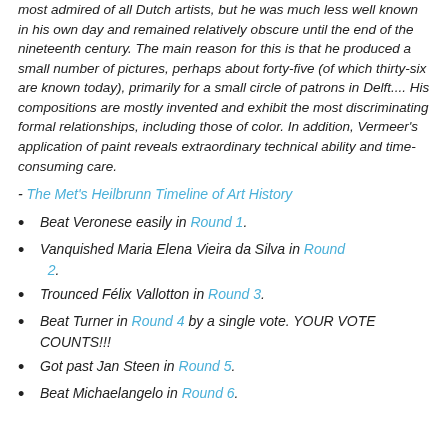most admired of all Dutch artists, but he was much less well known in his own day and remained relatively obscure until the end of the nineteenth century. The main reason for this is that he produced a small number of pictures, perhaps about forty-five (of which thirty-six are known today), primarily for a small circle of patrons in Delft.... His compositions are mostly invented and exhibit the most discriminating formal relationships, including those of color. In addition, Vermeer's application of paint reveals extraordinary technical ability and time-consuming care.
- The Met's Heilbrunn Timeline of Art History
Beat Veronese easily in Round 1.
Vanquished Maria Elena Vieira da Silva in Round 2.
Trounced Félix Vallotton in Round 3.
Beat Turner in Round 4 by a single vote. YOUR VOTE COUNTS!!!
Got past Jan Steen in Round 5.
Beat Michaelangelo in Round 6.